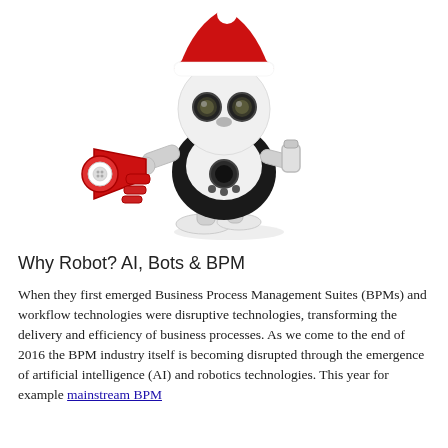[Figure (illustration): A white robot wearing a red Santa Claus hat, holding a red megaphone/bullhorn in one hand and a small canister in the other, walking on white feet. The robot has large round eyes and a round body on a white background.]
Why Robot? AI, Bots & BPM
When they first emerged Business Process Management Suites (BPMs) and workflow technologies were disruptive technologies, transforming the delivery and efficiency of business processes. As we come to the end of 2016 the BPM industry itself is becoming disrupted through the emergence of artificial intelligence (AI) and robotics technologies. This year for example mainstream BPM vendors have commenced rolling Robotic Process Automation into